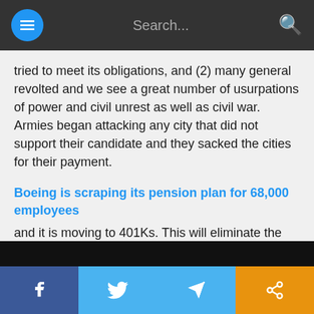Search...
tried to meet its obligations, and (2) many general revolted and we see a great number of usurpations of power and civil unrest as well as civil war. Armies began attacking any city that did not support their candidate and they sacked the cities for their payment.
Boeing is scraping its pension plan for 68,000 employees
and it is moving to 401Ks. This will eliminate the worry going forward concerning its unfunded liabilities. This is the start of the trend and we will see a lot more of this as well as municipal governments collapsing as government employees discover they will not be secure in the future just as they discovered in Rome.
f  [twitter]  [telegram]  [share]